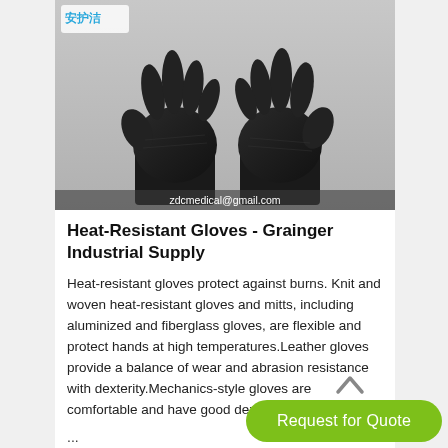[Figure (photo): Two hands wearing black nitrile/heat-resistant gloves displayed against a white background, with a Chinese brand logo (安护洁) in the top-left corner and a watermark 'zdcmedical@gmail.com' at the bottom.]
Heat-Resistant Gloves - Grainger Industrial Supply
Heat-resistant gloves protect against burns. Knit and woven heat-resistant gloves and mitts, including aluminized and fiberglass gloves, are flexible and protect hands at high temperatures.Leather gloves provide a balance of wear and abrasion resistance with dexterity.Mechanics-style gloves are comfortable and have good dexterity.
...
Request for Quote